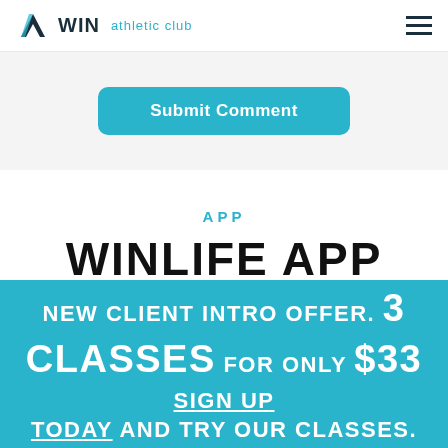WIN athletic club
Submit Comment
APP
WINLIFE APP
Get all of the member benefits and perks.
NEW CLIENT INTRO OFFER. 3 CLASSES FOR ONLY $33 SIGN UP TODAY AND TRY OUR CLASSES.